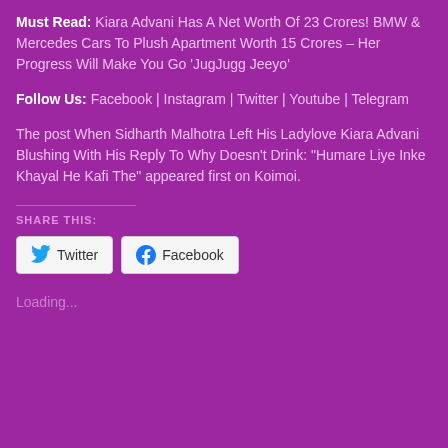Must Read: Kiara Advani Has A Net Worth Of 23 Crores! BMW & Mercedes Cars To Plush Apartment Worth 15 Crores – Her Progress Will Make You Go 'JugJugg Jeeyo'
Follow Us: Facebook | Instagram | Twitter | Youtube | Telegram
The post When Sidharth Malhotra Left His Ladylove Kiara Advani Blushing With His Reply To Why Doesn't Drink: "Humare Liye Inke Khayal He Kafi The" appeared first on Koimoi.
SHARE THIS:
Twitter | Facebook
Loading...